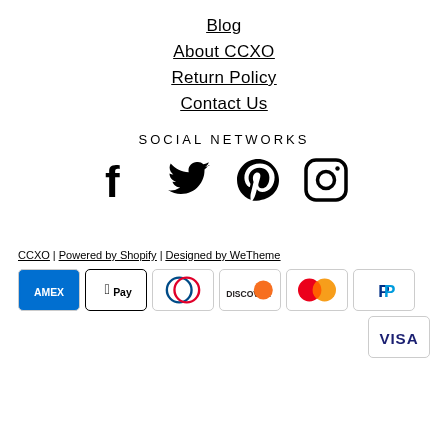Blog
About CCXO
Return Policy
Contact Us
SOCIAL NETWORKS
[Figure (infographic): Social media icons: Facebook, Twitter, Pinterest, Instagram]
CCXO | Powered by Shopify | Designed by WeTheme
[Figure (infographic): Payment method logos: American Express, Apple Pay, Diners Club, Discover, Mastercard, PayPal, Visa]